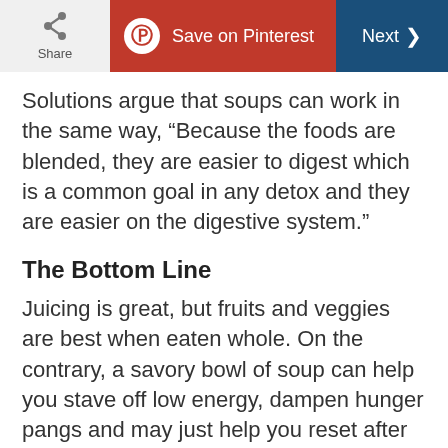Share | Save on Pinterest | Next
Solutions argue that soups can work in the same way, “Because the foods are blended, they are easier to digest which is a common goal in any detox and they are easier on the digestive system.”
The Bottom Line
Juicing is great, but fruits and veggies are best when eaten whole. On the contrary, a savory bowl of soup can help you stave off low energy, dampen hunger pangs and may just help you reset after overdoing it at the office potluck party.
Get started souping with super-fast